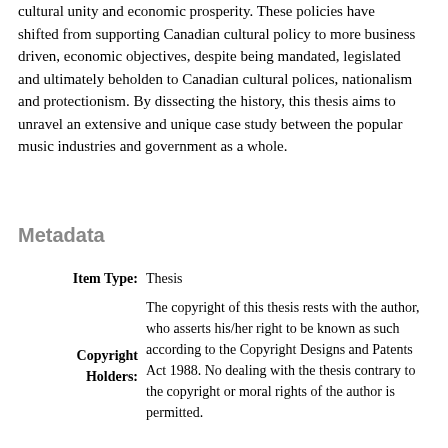cultural unity and economic prosperity. These policies have shifted from supporting Canadian cultural policy to more business driven, economic objectives, despite being mandated, legislated and ultimately beholden to Canadian cultural polices, nationalism and protectionism. By dissecting the history, this thesis aims to unravel an extensive and unique case study between the popular music industries and government as a whole.
Metadata
| Field | Value |
| --- | --- |
| Item Type: | Thesis |
| Copyright Holders: | The copyright of this thesis rests with the author, who asserts his/her right to be known as such according to the Copyright Designs and Patents Act 1988. No dealing with the thesis contrary to the copyright or moral rights of the author is permitted. |